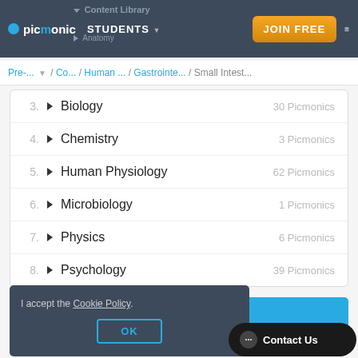Content Library | Anatomy — picmonic | STUDENTS | JOIN FREE
Pre-... / Co... / Human ... / Gastrointe... / Small Intest...
3. Biology — 30 Picmonics
4. Chemistry — 3 Picmonics
5. Human Physiology — 62 Picmonics
6. Microbiology — 1 Picmonics
7. Physics — 6 Picmonics
8. Psychology — 39 Picmonics
[Figure (screenshot): Blue banner section with partial text 'specific']
I accept the Cookie Policy. OK
Contact Us